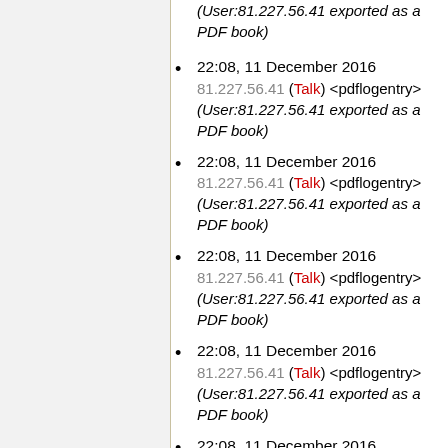(User:81.227.56.41 exported as a PDF book)
22:08, 11 December 2016 81.227.56.41 (Talk) <pdflogentry> (User:81.227.56.41 exported as a PDF book)
22:08, 11 December 2016 81.227.56.41 (Talk) <pdflogentry> (User:81.227.56.41 exported as a PDF book)
22:08, 11 December 2016 81.227.56.41 (Talk) <pdflogentry> (User:81.227.56.41 exported as a PDF book)
22:08, 11 December 2016 81.227.56.41 (Talk) <pdflogentry> (User:81.227.56.41 exported as a PDF book)
22:08, 11 December 2016 81.227.56.41 (Talk) <pdflogentry>